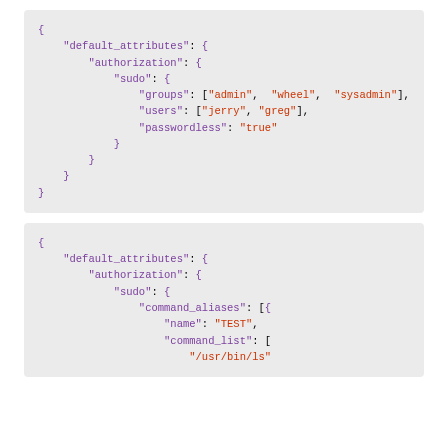{
    "default_attributes": {
        "authorization": {
            "sudo": {
                "groups": ["admin", "wheel", "sysadmin"],
                "users": ["jerry", "greg"],
                "passwordless": "true"
            }
        }
    }
}
{
    "default_attributes": {
        "authorization": {
            "sudo": {
                "command_aliases": [{
                    "name": "TEST",
                    "command_list": [
                        "/usr/bin/ls"